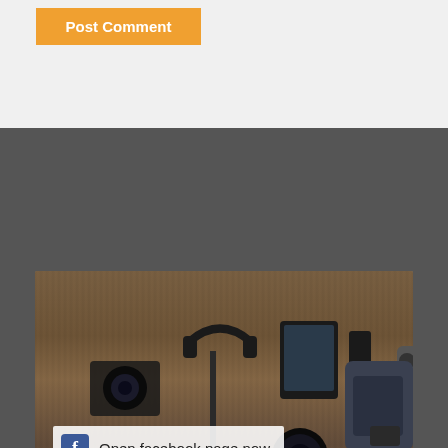[Figure (screenshot): Orange 'Post Comment' button on light gray background]
[Figure (photo): Flat lay of technology items including camera, headphones, tablet, drone controller, tripod, backpack on wooden surface with Facebook open page overlay]
Open facebook page now
Join our Facebook community
[Figure (photo): Row of profile photos of various people for Facebook community]